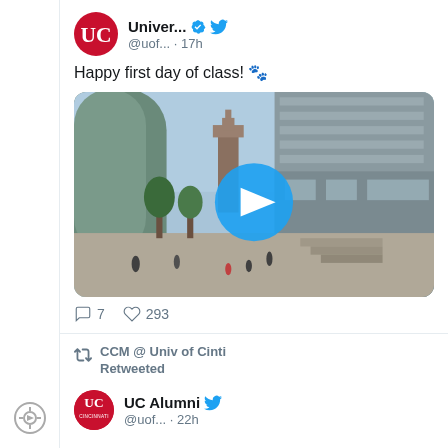[Figure (screenshot): Twitter/social media feed screenshot showing University of Cincinnati tweet 'Happy first day of class!' with a campus video thumbnail and a second retweet from CCM @ Univ of Cinti retweeting UC Alumni]
Univer... @uof... · 17h
Happy first day of class! 🐾
7  293
CCM @ Univ of Cinti Retweeted
UC Alumni @uof... · 22h